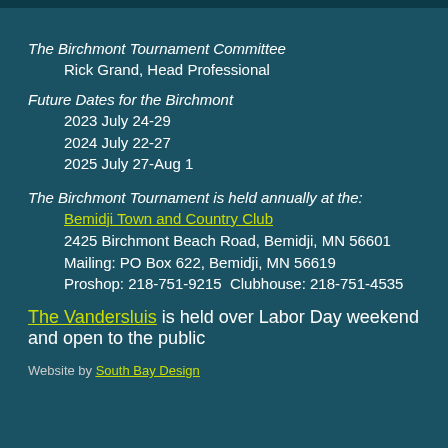The Birchmont Tournament Committee
    Rick Grand, Head Professional
Future Dates for the Birchmont
    2023 July 24-29
    2024 July 22-27
    2025 July 27-Aug 1
The Birchmont Tournament is held annually at the:
    Bemidji Town and Country Club
    2425 Birchmont Beach Road, Bemidji, MN 56601
    Mailing: PO Box 622, Bemidji, MN 56619
    Proshop: 218-751-9215  Clubhouse: 218-751-4535
The Vandersluis is held over Labor Day weekend and open to the public
Website by South Bay Design